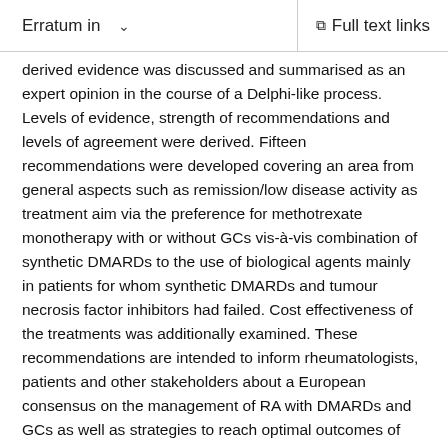Erratum in   ∨   Full text links
derived evidence was discussed and summarised as an expert opinion in the course of a Delphi-like process. Levels of evidence, strength of recommendations and levels of agreement were derived. Fifteen recommendations were developed covering an area from general aspects such as remission/low disease activity as treatment aim via the preference for methotrexate monotherapy with or without GCs vis-à-vis combination of synthetic DMARDs to the use of biological agents mainly in patients for whom synthetic DMARDs and tumour necrosis factor inhibitors had failed. Cost effectiveness of the treatments was additionally examined. These recommendations are intended to inform rheumatologists, patients and other stakeholders about a European consensus on the management of RA with DMARDs and GCs as well as strategies to reach optimal outcomes of RA, based on evidence and expert